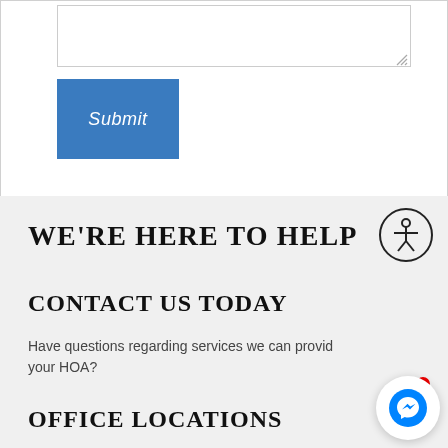[Figure (screenshot): White form section with a text area and a blue Submit button]
WE'RE HERE TO HELP
CONTACT US TODAY
Have questions regarding services we can provide your HOA?
OFFICE LOCATIONS